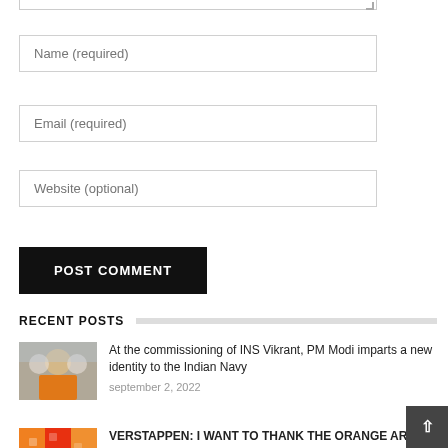[Figure (screenshot): Bottom portion of a textarea input field with resize handle visible]
Name (required)
Email (required)
Website (optional)
POST COMMENT
RECENT POSTS
[Figure (photo): Photo of PM Modi in orange dress with blue Ashoka Chakra in background]
At the commissioning of INS Vikrant, PM Modi imparts a new identity to the Indian Navy
september 2, 2022
[Figure (photo): Photo of dense crowd of Verstappen orange army supporters]
VERSTAPPEN: I WANT TO THANK THE ORANGE ARMY
september 2, 2022